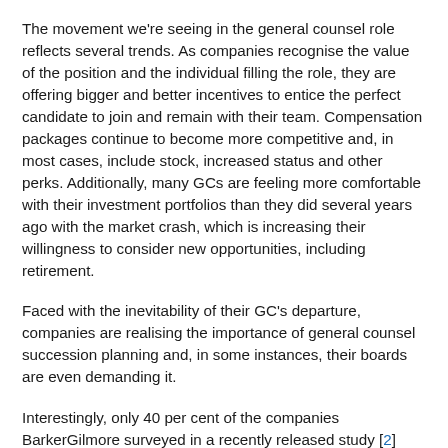The movement we're seeing in the general counsel role reflects several trends. As companies recognise the value of the position and the individual filling the role, they are offering bigger and better incentives to entice the perfect candidate to join and remain with their team. Compensation packages continue to become more competitive and, in most cases, include stock, increased status and other perks. Additionally, many GCs are feeling more comfortable with their investment portfolios than they did several years ago with the market crash, which is increasing their willingness to consider new opportunities, including retirement.
Faced with the inevitability of their GC's departure, companies are realising the importance of general counsel succession planning and, in some instances, their boards are even demanding it.
Interestingly, only 40 per cent of the companies BarkerGilmore surveyed in a recently released study [2] have a formal succession plan in place for their GCs.